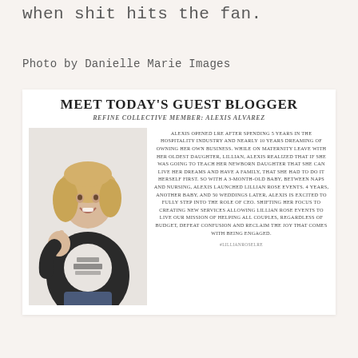when shit hits the fan.
Photo by Danielle Marie Images
[Figure (infographic): Guest blogger card featuring a photo of Alexis Alvarez and a bio about Lillian Rose Events. Title: MEET TODAY'S GUEST BLOGGER. Subtitle: REFINE COLLECTIVE MEMBER: ALEXIS ALVAREZ. Bio describes Alexis opening LRE after 5 years in hospitality, launching Lillian Rose Events while on maternity leave with her oldest daughter Lillian, and 4 years, another baby, and 50 weddings later.]